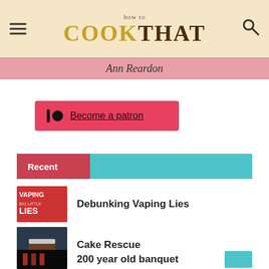how to COOKTHAT - Ann Reardon
Become a patron
Recent
Debunking Vaping Lies
Cake Rescue
200 year old banquet